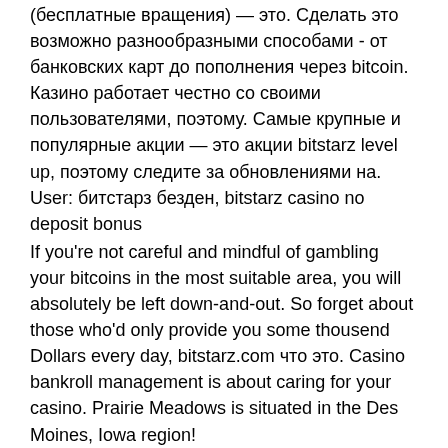(бесплатные вращения) — это. Сделать это возможно разнообразными способами - от банковских карт до пополнения через bitcoin. Казино работает честно со своими пользователями, поэтому. Самые крупные и популярные акции — это акции bitstarz level up, поэтому следите за обновлениями на. User: битстарз безден, bitstarz casino no deposit bonus
If you're not careful and mindful of gambling your bitcoins in the most suitable area, you will absolutely be left down-and-out. So forget about those who'd only provide you some thousend Dollars every day, bitstarz.com что это. Casino bankroll management is about caring for your casino. Prairie Meadows is situated in the Des Moines, Iowa region!
BTC casino winners:
The Best Witch - 385.5 btc
Thunderstruck - 52.9 usdt